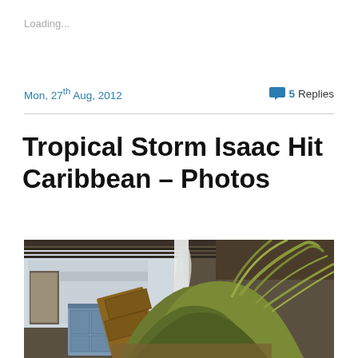Loading...
Mon, 27th Aug, 2012
5 Replies
Tropical Storm Isaac Hit Caribbean – Photos
[Figure (photo): Interior of a building damaged by Tropical Storm Isaac, showing debris of grass/vegetation, overturned furniture including a cabinet, corrugated metal roof partially collapsed, and a white curtain hanging.]